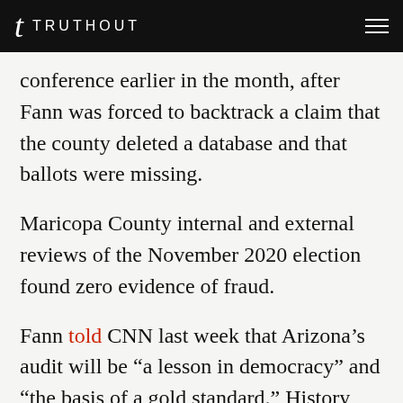TRUTHOUT
conference earlier in the month, after Fann was forced to backtrack a claim that the county deleted a database and that ballots were missing.
Maricopa County internal and external reviews of the November 2020 election found zero evidence of fraud.
Fann told CNN last week that Arizona’s audit will be “a lesson in democracy” and “the basis of a gold standard.” History will almost assuredly prove her correct about that first part.